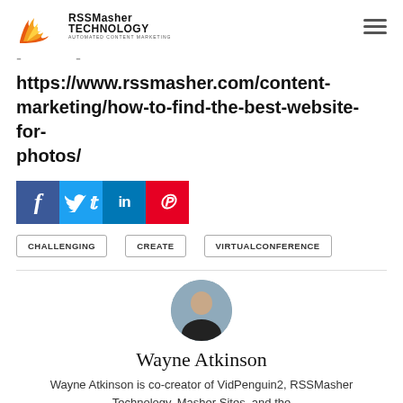RSSMasher TECHNOLOGY
https://www.rssmasher.com/content-marketing/how-to-find-the-best-website-for-photos/
[Figure (infographic): Social share buttons: Facebook (blue), Twitter (light blue), LinkedIn (dark blue), Pinterest (red)]
CHALLENGING
CREATE
VIRTUALCONFERENCE
[Figure (photo): Circular avatar photo of Wayne Atkinson]
Wayne Atkinson
Wayne Atkinson is co-creator of VidPenguin2, RSSMasher Technology, Masher Sites, and the